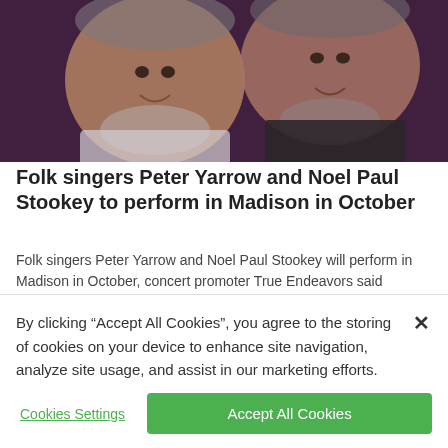[Figure (photo): Two smiling men close together against a dark purple background; left man has white beard, right man has grey hair and beard]
Folk singers Peter Yarrow and Noel Paul Stookey to perform in Madison in October
Folk singers Peter Yarrow and Noel Paul Stookey will perform in Madison in October, concert promoter True Endeavors said Monday.
[Figure (photo): Partial view of an indoor ceiling with fluorescent lights]
By clicking “Accept All Cookies”, you agree to the storing of cookies on your device to enhance site navigation, analyze site usage, and assist in our marketing efforts.
Cookies Settings
Accept All Cookies